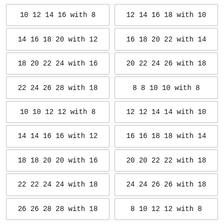10 12 14 16 with 8
12 14 16 18 with 10
14 16 18 20 with 12
16 18 20 22 with 14
18 20 22 24 with 16
20 22 24 26 with 18
22 24 26 28 with 18
8 8 10 10 with 8
10 10 12 12 with 8
12 12 14 14 with 10
14 14 16 16 with 12
16 16 18 18 with 14
18 18 20 20 with 16
20 20 22 22 with 18
22 22 24 24 with 18
24 24 26 26 with 18
26 26 28 28 with 18
8 10 12 12 with 8